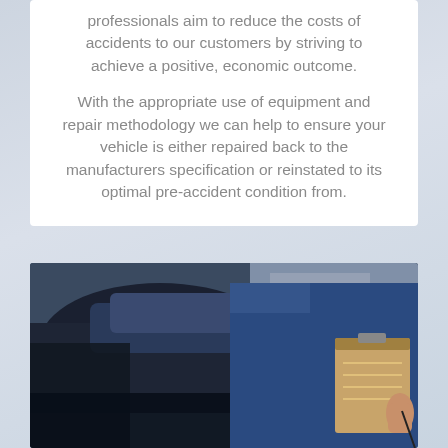professionals aim to reduce the costs of accidents to our customers by striving to achieve a positive, economic outcome.
With the appropriate use of equipment and repair methodology we can help to ensure your vehicle is either repaired back to the manufacturers specification or reinstated to its optimal pre-accident condition from.
[Figure (photo): A mechanic in a blue uniform writing on a clipboard, inspecting a vehicle with the hood open in a garage/workshop setting.]